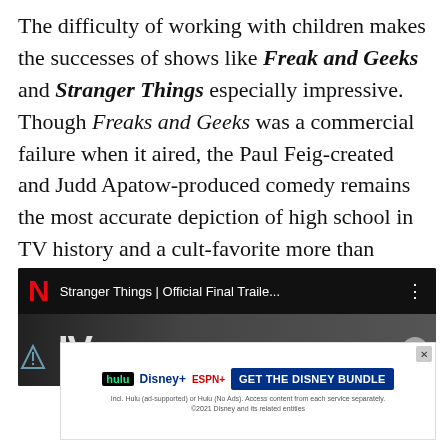The difficulty of working with children makes the successes of shows like Freak and Geeks and Stranger Things especially impressive. Though Freaks and Geeks was a commercial failure when it aired, the Paul Feig-created and Judd Apatow-produced comedy remains the most accurate depiction of high school in TV history and a cult-favorite more than fifteen years later.
[Figure (screenshot): Netflix video player showing 'Stranger Things | Official Final Traile...' with Netflix logo, three-dot menu, and partial thumbnail with 'IV' text visible. An X close button is on the right side.]
[Figure (screenshot): Disney Bundle advertisement showing Hulu, Disney+, and ESPN+ logos with a 'GET THE DISNEY BUNDLE' button and fine print about Hulu ad-supported and No Ads plans. ©2021 Disney and its related entities.]